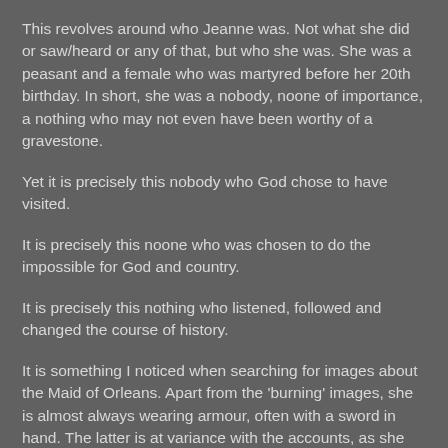This revolves around who Jeanne was.  Not what she did or saw/heard or any of that, but who she was.  She was a peasant and a female who was martyred before her 20th birthday.  In short, she was a nobody, noone of importance, a nothing who may not even have been worthy of a gravestone.
Yet it is precisely this nobody who God chose to have visited.
It is precisely this noone who was chosen to do the impossible for God and country.
It is precisely this nothing who listened, followed and changed the course of history.
It is something I noticed when searching for images about the Maid of Orleans.  Apart from the 'burning' images, she is almost always wearing armour, often with a sword in hand.  The latter is at variance with the accounts, as she stated specifically that she did not wish to harm anyone.  It is hard to find an image of her as the 13 year old shepherdess...  But